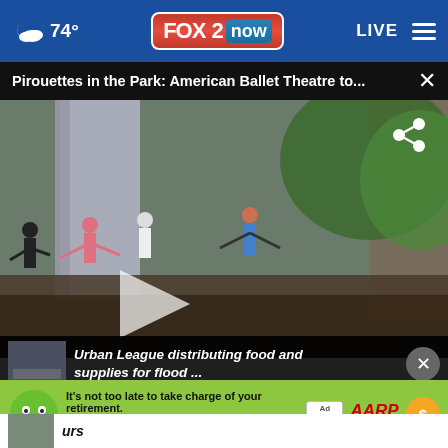74° FOX 2 now LIVE
Pirouettes in the Park: American Ballet Theatre to...
[Figure (photo): Ballet dancers rehearsing on an outdoor stage with white curtains in the background, trees visible, in a park setting. A play button overlay is visible.]
Urban League distributing food and supplies for flood ...
[Figure (screenshot): AARP advertisement banner: green background with cartoon mascot face, text 'It's not too late to take charge of your retirement. Get your top 3 tips →', Ad Council logo, AARP logo, and sun coin icon.]